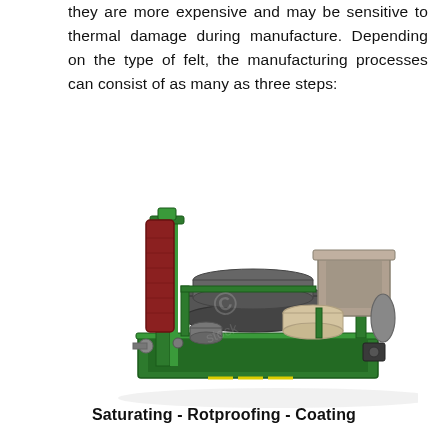they are more expensive and may be sensitive to thermal damage during manufacture. Depending on the type of felt, the manufacturing processes can consist of as many as three steps:
[Figure (illustration): 3D rendering of an industrial felt manufacturing machine (saturating, rotproofing, coating line). The machine has a tall green frame on the left holding a roll of red/brown material, with multiple horizontal rollers, a large hopper/tank on the right, and a green base frame. The machine is shown in isometric perspective on a white background with a watermark.]
Saturating - Rotproofing - Coating